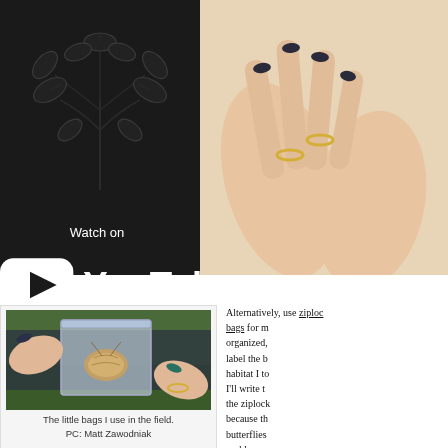[Figure (screenshot): YouTube video thumbnail with dark floral/tree design and 'Watch on YouTube' overlay text with YouTube logo]
[Figure (photo): Close-up photo of hands with rings, nail polish visible]
[Figure (photo): Photo of hands holding a small ziploc bag containing an insect/bug specimen, outdoors]
The little bags I use in the field.
PC: Matt Zawodniak
Alternatively, use ziploc bags for more organized, label the b habitat I to I'll write t the ziplock because th butterflies problem w get a big z but I can't